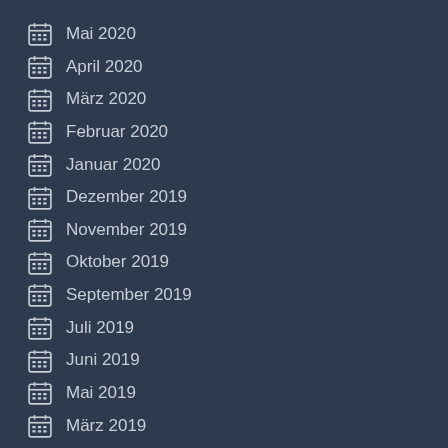Mai 2020
April 2020
März 2020
Februar 2020
Januar 2020
Dezember 2019
November 2019
Oktober 2019
September 2019
Juli 2019
Juni 2019
Mai 2019
März 2019
Februar 2019